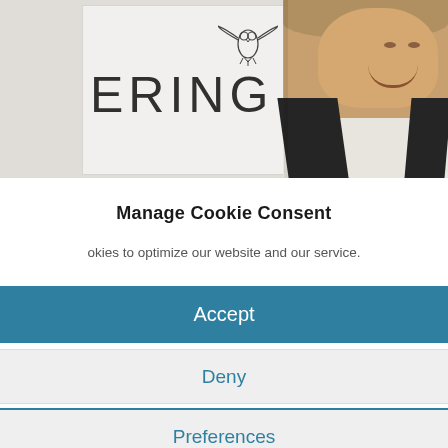[Figure (photo): Photo of a smiling man in a dark jacket with white shirt, standing in front of a light-colored wall/sign that shows an owl logo and the partial text 'ERING']
Manage Cookie Consent
okies to optimize our website and our service.
Accept
Deny
Preferences